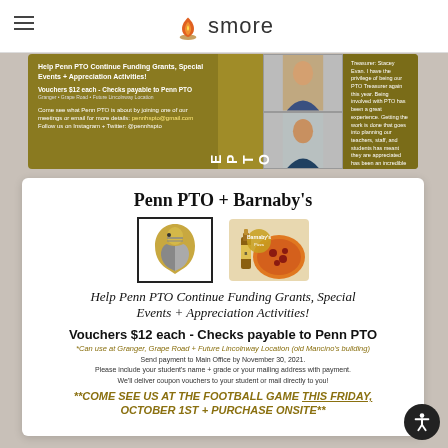smore
[Figure (screenshot): Partial Penn PTO newsletter card showing gold/olive background with PTO info, voucher details, two staff photos, and member bios]
Penn PTO + Barnaby's
[Figure (logo): Penn knight mascot logo (left) and Barnaby's pizza restaurant logo (right)]
Help Penn PTO Continue Funding Grants, Special Events + Appreciation Activities!
Vouchers $12 each - Checks payable to Penn PTO
*Can use at Granger, Grape Road + Future Lincolnway Location (old Mancino's building)
Send payment to Main Office by November 30, 2021.
Please include your student's name + grade or your mailing address with payment.
We'll deliver coupon vouchers to your student or mail directly to you!
**COME SEE US AT THE FOOTBALL GAME THIS FRIDAY, OCTOBER 1ST + PURCHASE ONSITE**